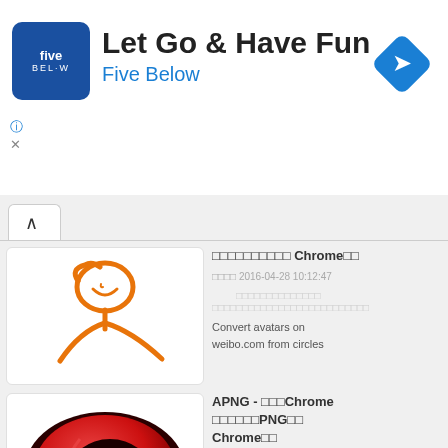[Figure (screenshot): Five Below advertisement banner with logo, title 'Let Go & Have Fun', subtitle 'Five Below', info/close icons, and a blue direction arrow diamond icon]
xxxxxxxxxx Chromexx
xxxx 2016-04-28 10:12:47
xxxxxxxxxxxxxx
xxxxxxxxxxxxxxxxxxxxxxxxxx
Convert avatars on weibo.com from circles
[Figure (screenshot): Red and dark circular logo graphic, partially visible]
APNG - xxxChrome xxxxxxPNGxx Chromexx
xxxx 2019-10-24 09:46:07